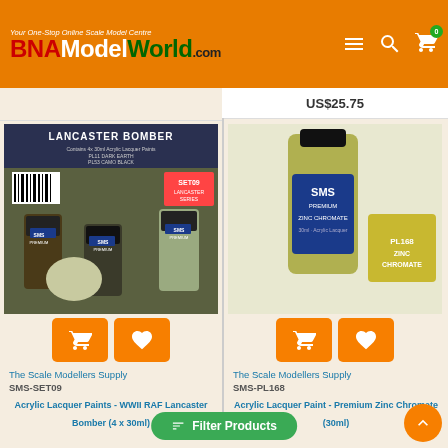BNAModelWorld.com — Your One-Stop Online Scale Model Centre
US$25.75
[Figure (photo): SMS Premium Acrylic Lacquer Paints set for WWII RAF Lancaster Bomber (4 x 30ml), showing SET09 packaging with paint bottles]
[Figure (photo): SMS Premium Acrylic Lacquer Paint PL168 Zinc Chromate (30ml) bottle with color swatch]
The Scale Modellers Supply
SMS-SET09
The Scale Modellers Supply
SMS-PL168
Acrylic Lacquer Paints - WWII RAF Lancaster Bomber (4 x 30ml)
Acrylic Lacquer Paint - Premium Zinc Chromate (30ml)
Filter Products